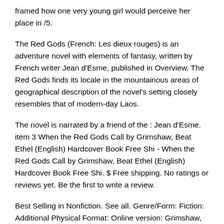framed how one very young girl would perceive her place in /5.
The Red Gods (French: Les dieux rouges) is an adventure novel with elements of fantasy, written by French writer Jean d'Esme, published in Overview. The Red Gods finds its locale in the mountainous areas of geographical description of the novel's setting closely resembles that of modern-day Laos.
The novel is narrated by a friend of the : Jean d'Esme. item 3 When the Red Gods Call by Grimshaw, Beat Ethel (English) Hardcover Book Free Shi - When the Red Gods Call by Grimshaw, Beat Ethel (English) Hardcover Book Free Shi. $ Free shipping. No ratings or reviews yet. Be the first to write a review.
Best Selling in Nonfiction. See all. Genre/Form: Fiction: Additional Physical Format: Online version: Grimshaw, Beatrice, When the red gods call. New York, Moffat, Yard & Company, What Is God On Call Book.?. Loaded with the Divine Blessings of Lord Venkateswara and endowed with many miraculous powers, God On Call – with twelve spellbinding stories based on real life miraculous incidents that